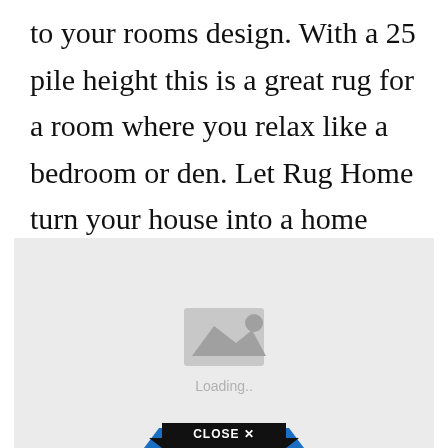to your rooms design. With a 25 pile height this is a great rug for a room where you relax like a bedroom or den. Let Rug Home turn your house into a home with our collection of hundreds of large area rugs for your living room bedroom or any large.
[Figure (other): Image placeholder with a grey background, a landscape/photo icon in the center, and 'Loading..' text beneath it. A 'CLOSE X' button appears at the bottom center.]